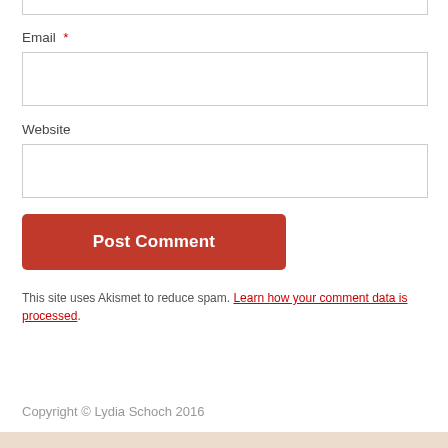Email *
Website
Post Comment
This site uses Akismet to reduce spam. Learn how your comment data is processed.
Copyright © Lydia Schoch 2016